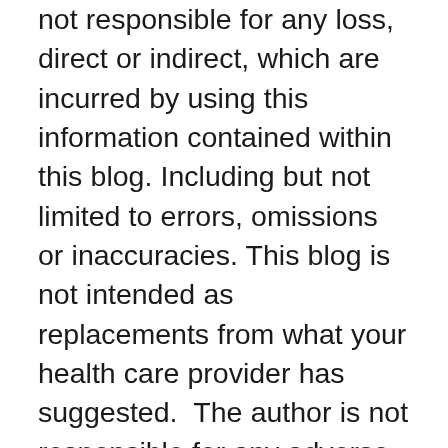not responsible for any loss, direct or indirect, which are incurred by using this information contained within this blog. Including but not limited to errors, omissions or inaccuracies. This blog is not intended as replacements from what your health care provider has suggested.  The author is not responsible for any adverse effects or consequences resulting from the use of any of the suggestions, preparations or procedures discussed in this blog. All matters pertaining to your health should be supervised by a health care professional. I am not a doctor, or a medical professional. This blog is designed for as an educational and entertainment tool only. Please always check with your health practitioner before taking any vitamins, supplements, or herbs, as they may have side-effects, especially when combined with medications, alcohol, or other vitamins or supplements.  Knowledge is